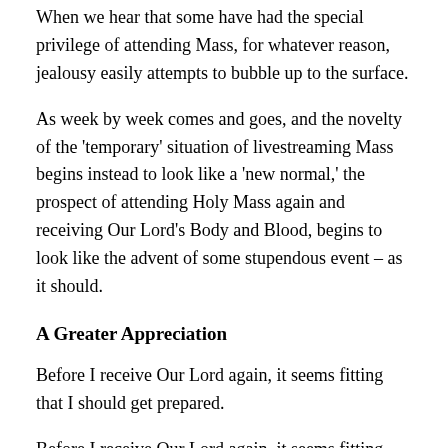When we hear that some have had the special privilege of attending Mass, for whatever reason, jealousy easily attempts to bubble up to the surface.
As week by week comes and goes, and the novelty of the 'temporary' situation of livestreaming Mass begins instead to look like a 'new normal,' the prospect of attending Holy Mass again and receiving Our Lord's Body and Blood, begins to look like the advent of some stupendous event – as it should.
A Greater Appreciation
Before I receive Our Lord again, it seems fitting that I should get prepared.
Before I receive Our Lord again, it seems fitting that a time of fasting and abstinence, penance and reparation, should be undertaken.